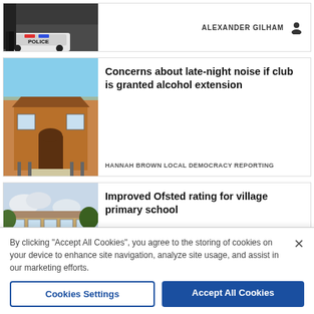[Figure (photo): Partial view of top news card showing police car and person's legs; author name ALEXANDER GILHAM with profile icon]
ALEXANDER GILHAM
[Figure (photo): Red brick community building with arched doorway and windows]
Concerns about late-night noise if club is granted alcohol extension
HANNAH BROWN LOCAL DEMOCRACY REPORTING
[Figure (photo): Village primary school building with trees in background]
Improved Ofsted rating for village primary school
By clicking "Accept All Cookies", you agree to the storing of cookies on your device to enhance site navigation, analyze site usage, and assist in our marketing efforts.
Cookies Settings
Accept All Cookies